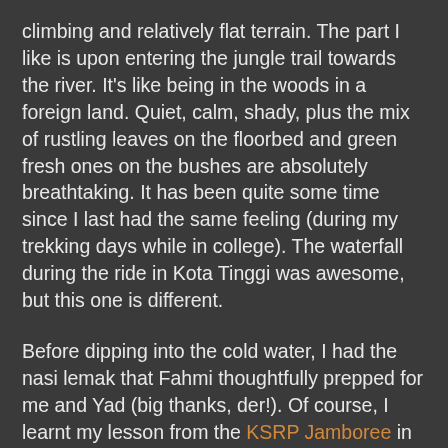climbing and relatively flat terrain. The part I like is upon entering the jungle trail towards the river. It's like being in the woods in a foreign land. Quiet, calm, shady, plus the mix of rustling leaves on the floorbed and green fresh ones on the bushes are absolutely breathtaking. It has been quite some time since I last had the same feeling (during my trekking days while in college). The waterfall during the ride in Kota Tinggi was awesome, but this one is different.
Before dipping into the cold water, I had the nasi lemak that Fahmi thoughtfully prepped for me and Yad (big thanks, der!). Of course, I learnt my lesson from the KSRP Jamboree in Melaka. But knowing that going back would only be some 6km, I dug it in and shared with Rudy. Anyway, who could resist sambal kerang and fried chicken? I could say a lot about the place, but I'll let the pictures do the talking. Scroll below for the link to the album on facebook.
Going back was refreshing, as we were out from the cold water and tummies filled. The 6km was an illusion really. My tracking showed 11+ km. Anyway, it was not as taxing as in Melaka. More than half of the journey back was on tarmac